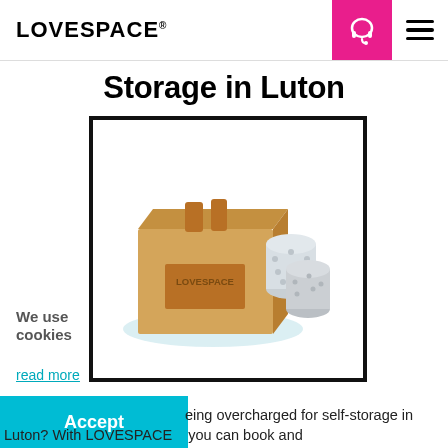LOVESPACE®
Storage in Luton
[Figure (illustration): Isometric illustration of a cardboard box labeled LOVESPACE with two cylindrical wrapped rolls beside it, on a light blue oval shadow, inside a thick black border rectangle.]
We use cookies
read more
Accept
eing overcharged for self-storage in
Luten? With LOVESPACE    you can book and